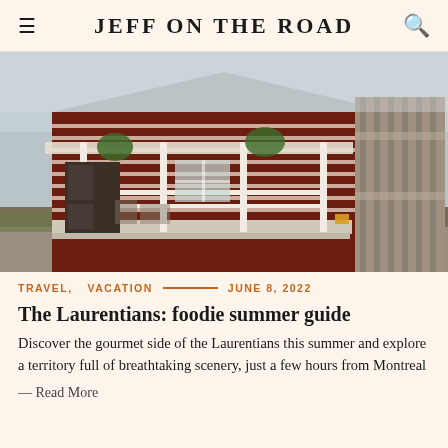JEFF ON THE ROAD
[Figure (photo): A red-brown log cabin with a white-railed covered porch, hanging plants, outdoor furniture, and a wooden fence to the right. Gravel and sparse grass in the foreground.]
TRAVEL,  VACATION —— JUNE 8, 2022
The Laurentians: foodie summer guide
Discover the gourmet side of the Laurentians this summer and explore a territory full of breathtaking scenery, just a few hours from Montreal
— Read More